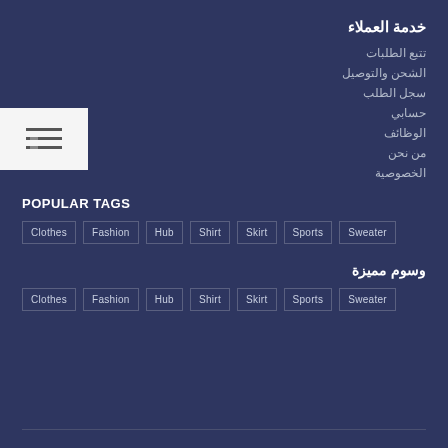خدمة العملاء
تتبع الطلبات
الشحن والتوصيل
سجل الطلب
حسابي
الوظائف
من نحن
الخصوصية
POPULAR TAGS
Clothes  Fashion  Hub  Shirt  Skirt  Sports  Sweater
وسوم مميزة
Clothes  Fashion  Hub  Shirt  Skirt  Sports  Sweater